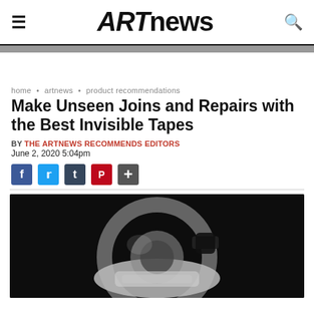ARTnews
home • artnews • product recommendations
Make Unseen Joins and Repairs with the Best Invisible Tapes
BY THE ARTNEWS RECOMMENDS EDITORS
June 2, 2020 5:04pm
[Figure (photo): Close-up photo of a clear tape dispenser on a dark background]